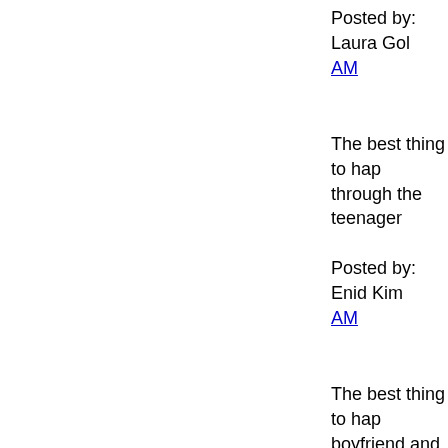Posted by: Laura Gol... AM
The best thing to hap... through the teenager...
Posted by: Enid Kim... AM
The best thing to hap... boyfriend and I have ... summer, I have lost 5... discovered the joy of... quality street. Mmmm...
Posted by: Lauren | J...
The best thing to hap... until I cried at my da... on her first driving le... driving instructor sai... it made me feel old b...
Posted by: Louise Sh... PM